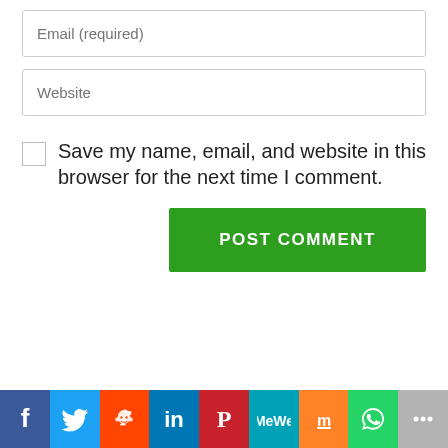[Figure (screenshot): Email (required) input field]
[Figure (screenshot): Website input field]
Save my name, email, and website in this browser for the next time I comment.
[Figure (screenshot): POST COMMENT green button]
[Figure (infographic): Social sharing bar with icons: Facebook, Twitter, Reddit, LinkedIn, Pinterest, MeWe, Mix, WhatsApp, More]